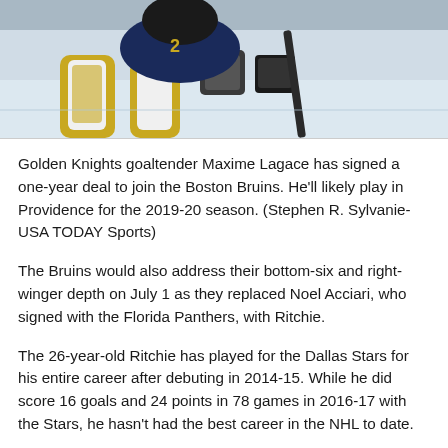[Figure (photo): Hockey goaltender (Vegas Golden Knights) in gold and white pads kneeling on ice, partial view showing lower body and equipment]
Golden Knights goaltender Maxime Lagace has signed a one-year deal to join the Boston Bruins. He'll likely play in Providence for the 2019-20 season. (Stephen R. Sylvanie-USA TODAY Sports)
The Bruins would also address their bottom-six and right-winger depth on July 1 as they replaced Noel Acciari, who signed with the Florida Panthers, with Ritchie.
The 26-year-old Ritchie has played for the Dallas Stars for his entire career after debuting in 2014-15. While he did score 16 goals and 24 points in 78 games in 2016-17 with the Stars, he hasn't had the best career in the NHL to date.